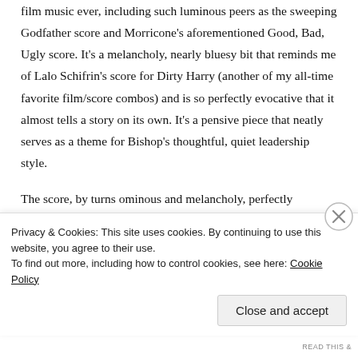film music ever, including such luminous peers as the sweeping Godfather score and Morricone's aforementioned Good, Bad, Ugly score. It's a melancholy, nearly bluesy bit that reminds me of Lalo Schifrin's score for Dirty Harry (another of my all-time favorite film/score combos) and is so perfectly evocative that it almost tells a story on its own. It's a pensive piece that neatly serves as a theme for Bishop's thoughtful, quiet leadership style.
The score, by turns ominous and melancholy, perfectly underscores the film's themes and walks hand-in-hand with the stark, gritty visuals. Shot by Carpenter's Dark Star cinematographer Douglas
Privacy & Cookies: This site uses cookies. By continuing to use this website, you agree to their use.
To find out more, including how to control cookies, see here: Cookie Policy
Close and accept